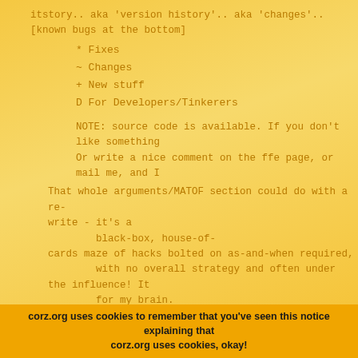itstory.. aka 'version history'.. aka 'changes'..
[known bugs at the bottom]
* Fixes
~ Changes
+ New stuff
D For Developers/Tinkerers
NOTE: source code is available. If you don't like something
Or write a nice comment on the ffe page, or mail me, and I
That whole arguments/MATOF section could do with a re-write - it's a
black-box, house-of-cards maze of hacks bolted on as-and-when required,
with no overall strategy and often under the influence! It
for my brain.
2.5.4        ("Eejit Soup")    [dev. latest: 2022-02-19]
~    ffe will now remember your audio and video codec selecti
toggle between auto- and custom codecs.
corz.org uses cookies to remember that you've seen this notice explaining that corz.org uses cookies, okay!